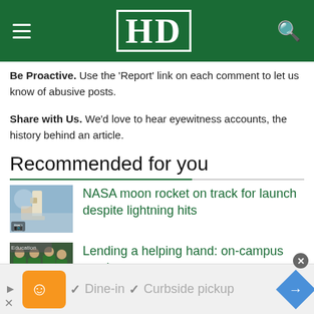HD
Be Proactive. Use the 'Report' link on each comment to let us know of abusive posts.
Share with Us. We'd love to hear eyewitness accounts, the history behind an article.
Recommended for you
[Figure (photo): Thumbnail image of NASA rocket at launch pad with camera icon overlay]
NASA moon rocket on track for launch despite lightning hits
[Figure (photo): Thumbnail image of students in green shirts on campus with camera icon overlay]
Lending a helping hand: on-campus services
Dine-in  ✓  Curbside pickup